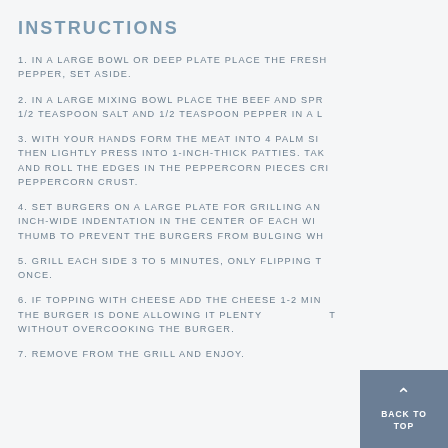INSTRUCTIONS
1. IN A LARGE BOWL OR DEEP PLATE PLACE THE FRESH PEPPER, SET ASIDE.
2. IN A LARGE MIXING BOWL PLACE THE BEEF AND SPR 1/2 TEASPOON SALT AND 1/2 TEASPOON PEPPER IN A L
3. WITH YOUR HANDS FORM THE MEAT INTO 4 PALM SI THEN LIGHTLY PRESS INTO 1-INCH-THICK PATTIES. TAK AND ROLL THE EDGES IN THE PEPPERCORN PIECES CRI PEPPERCORN CRUST.
4. SET BURGERS ON A LARGE PLATE FOR GRILLING AN INCH-WIDE INDENTATION IN THE CENTER OF EACH WI THUMB TO PREVENT THE BURGERS FROM BULGING WH
5. GRILL EACH SIDE 3 TO 5 MINUTES, ONLY FLIPPING T ONCE.
6. IF TOPPING WITH CHEESE ADD THE CHEESE 1-2 MIN THE BURGER IS DONE ALLOWING IT PLENTY T WITHOUT OVERCOOKING THE BURGER.
7. REMOVE FROM THE GRILL AND ENJOY.